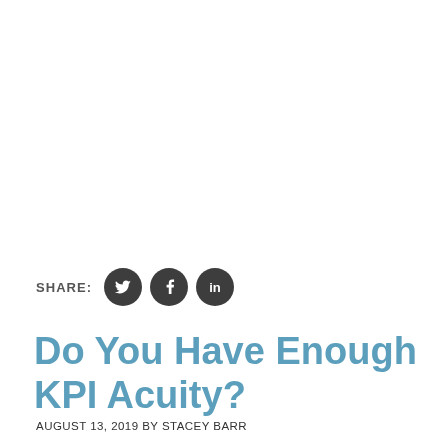[Figure (infographic): Social share row with SHARE: label and three dark circular social media icons: Twitter bird, Facebook f, LinkedIn in]
Do You Have Enough KPI Acuity?
AUGUST 13, 2019 BY STACEY BARR